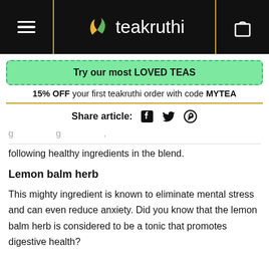teakruthi
Try our most LOVED TEAS
15% OFF your first teakruthi order with code MYTEA
Share article:
following healthy ingredients in the blend.
Lemon balm herb
This mighty ingredient is known to eliminate mental stress and can even reduce anxiety. Did you know that the lemon balm herb is considered to be a tonic that promotes digestive health?